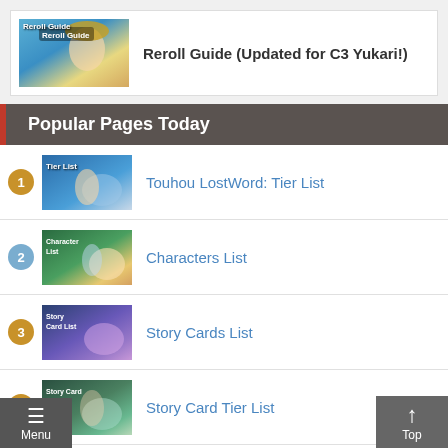[Figure (screenshot): Reroll Guide banner thumbnail with anime character in summer hat]
Reroll Guide (Updated for C3 Yukari!)
Popular Pages Today
Touhou LostWord: Tier List
Characters List
Story Cards List
Story Card Tier List
Prayers (partial, cut off)